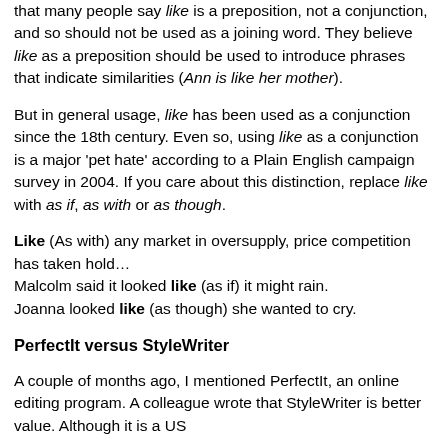that many people say like is a preposition, not a conjunction, and so should not be used as a joining word. They believe like as a preposition should be used to introduce phrases that indicate similarities (Ann is like her mother).
But in general usage, like has been used as a conjunction since the 18th century. Even so, using like as a conjunction is a major 'pet hate' according to a Plain English campaign survey in 2004. If you care about this distinction, replace like with as if, as with or as though.
Like (As with) any market in oversupply, price competition has taken hold… Malcolm said it looked like (as if) it might rain. Joanna looked like (as though) she wanted to cry.
PerfectIt versus StyleWriter
A couple of months ago, I mentioned PerfectIt, an online editing program. A colleague wrote that StyleWriter is better value. Although it is a US